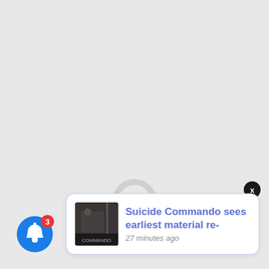[Figure (other): Loading spinner: a circular ring in light gray with a red/crimson arc segment at the bottom-right, indicating a loading state]
[Figure (other): Close button: small black circle with white X in the top-right area near the notification toast]
[Figure (other): Notification bell icon: blue circle with white bell, badge showing 3 unread notifications in red]
[Figure (other): Thumbnail image of Suicide Commando album art inside notification toast]
Suicide Commando sees earliest material re-
27 minutes ago